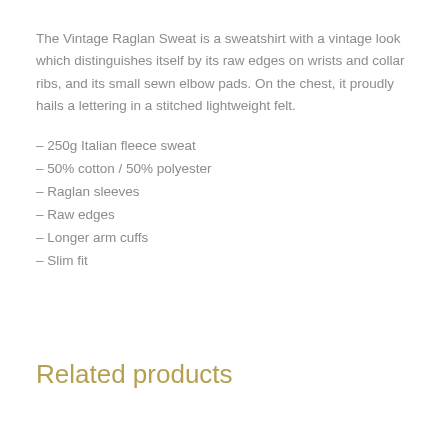The Vintage Raglan Sweat is a sweatshirt with a vintage look which distinguishes itself by its raw edges on wrists and collar ribs, and its small sewn elbow pads. On the chest, it proudly hails a lettering in a stitched lightweight felt.
– 250g Italian fleece sweat
– 50% cotton / 50% polyester
– Raglan sleeves
– Raw edges
– Longer arm cuffs
– Slim fit
Related products